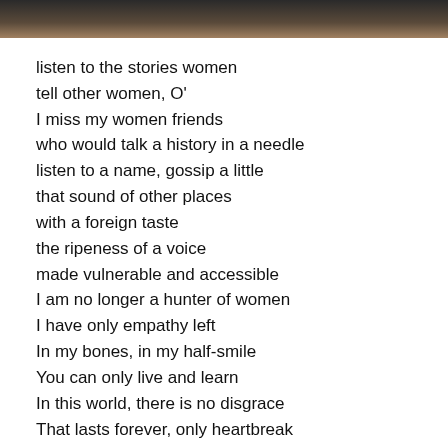[Figure (photo): Partial photo strip at the top of the page showing a dark-to-tan gradient, likely cropped from a photograph.]
listen to the stories women
tell other women, O'
I miss my women friends
who would talk a history in a needle
listen to a name, gossip a little
that sound of other places
with a foreign taste
the ripeness of a voice
made vulnerable and accessible
I am no longer a hunter of women
I have only empathy left
In my bones, in my half-smile
You can only live and learn
In this world, there is no disgrace
That lasts forever, only heartbreak